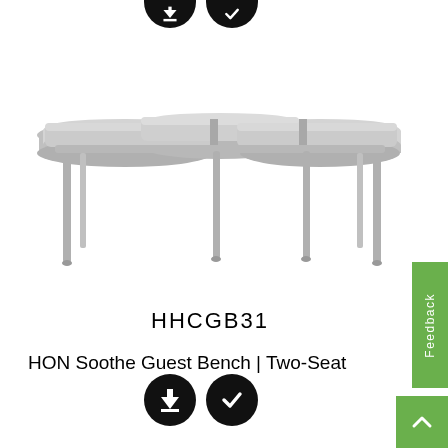[Figure (illustration): Two black circular buttons partially visible at top of page — one with a download arrow icon and one with a checkmark icon, cropped at the top edge.]
[Figure (illustration): Product illustration of a HON Soothe Guest Bench (two-seat), shown as a light gray bench with three seat sections and metal legs, rendered in a clean line-art / 3D isometric style on a white background.]
HHCGB31
HON Soothe Guest Bench | Two-Seat
[Figure (illustration): Two black circular buttons at bottom — one with a download arrow icon and one with a checkmark icon.]
[Figure (illustration): Gray vertical 'Feedback' tab on the right side of the page with white rotated text.]
[Figure (illustration): Green square back-to-top button with a white upward chevron arrow at bottom right.]